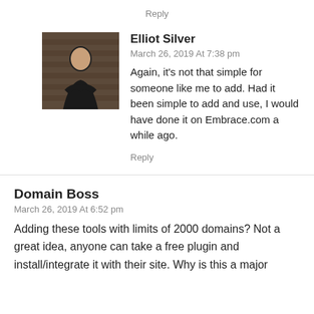Reply
Elliot Silver
March 26, 2019 At 7:38 pm
Again, it's not that simple for someone like me to add. Had it been simple to add and use, I would have done it on Embrace.com a while ago.
Reply
Domain Boss
March 26, 2019 At 6:52 pm
Adding these tools with limits of 2000 domains? Not a great idea, anyone can take a free plugin and install/integrate it with their site. Why is this a major